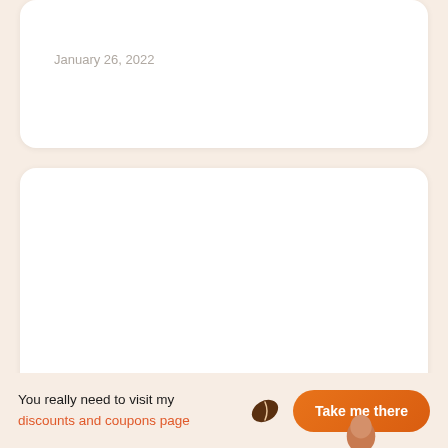January 26, 2022
Blog
How To Clean and Descale Your Keurig Machine
December 24, 2021
You really need to visit my discounts and coupons page
Take me there